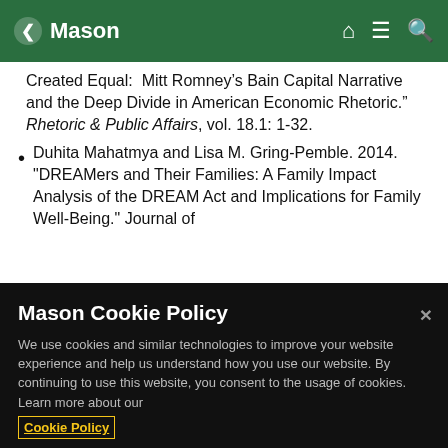Mason
Created Equal:  Mitt Romney’s Bain Capital Narrative and the Deep Divide in American Economic Rhetoric.” Rhetoric & Public Affairs, vol. 18.1: 1-32.
Duhita Mahatmya and Lisa M. Gring-Pemble. 2014. "DREAMers and Their Families: A Family Impact Analysis of the DREAM Act and Implications for Family Well-Being." Journal of
Mason Cookie Policy
We use cookies and similar technologies to improve your website experience and help us understand how you use our website. By continuing to use this website, you consent to the usage of cookies. Learn more about our Cookie Policy
Cookie Preferences   Accept Cookies